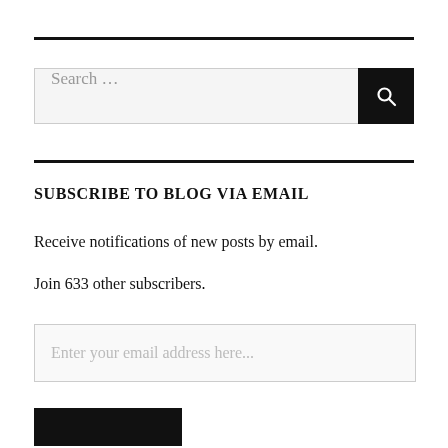Search …
SUBSCRIBE TO BLOG VIA EMAIL
Receive notifications of new posts by email.
Join 633 other subscribers.
Enter your email address here...